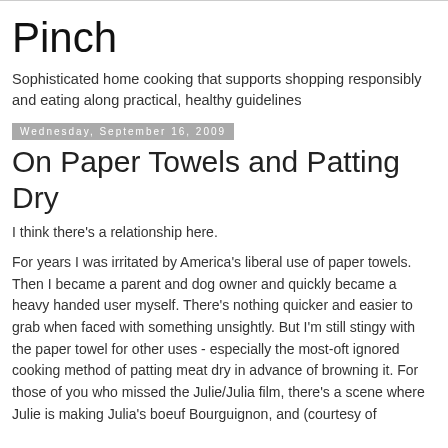Pinch
Sophisticated home cooking that supports shopping responsibly and eating along practical, healthy guidelines
Wednesday, September 16, 2009
On Paper Towels and Patting Dry
I think there's a relationship here.
For years I was irritated by America's liberal use of paper towels. Then I became a parent and dog owner and quickly became a heavy handed user myself. There's nothing quicker and easier to grab when faced with something unsightly. But I'm still stingy with the paper towel for other uses - especially the most-oft ignored cooking method of patting meat dry in advance of browning it. For those of you who missed the Julie/Julia film, there's a scene where Julie is making Julia's boeuf Bourguignon, and (courtesy of